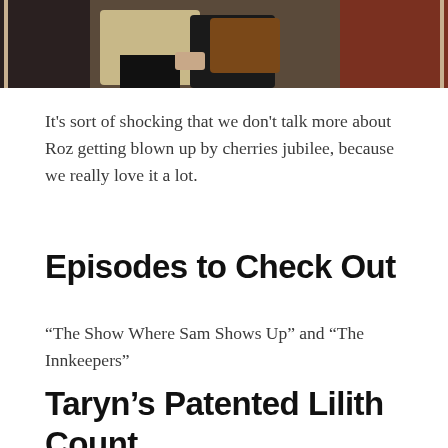[Figure (photo): Two people standing together, one wearing a floral/patterned outfit and the other wearing a brown leather jacket, photographed indoors.]
It's sort of shocking that we don't talk more about Roz getting blown up by cherries jubilee, because we really love it a lot.
Episodes to Check Out
“The Show Where Sam Shows Up” and “The Innkeepers”
Taryn’s Patented Lilith Count